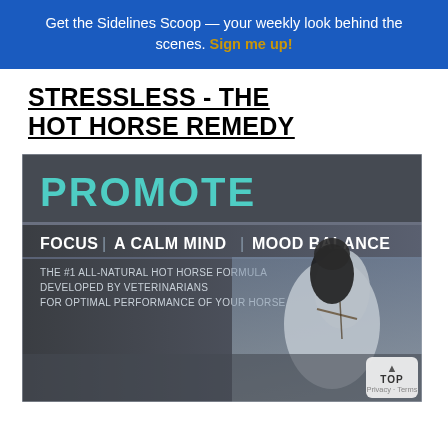Get the Sidelines Scoop — your weekly look behind the scenes. Sign me up!
STRESSLESS - THE HOT HORSE REMEDY
[Figure (infographic): Promotional advertisement for 'Stressless - The Hot Horse Remedy' product showing a rider on a grey horse with text: PROMOTE / FOCUS | A CALM MIND | MOOD BALANCE / THE #1 ALL-NATURAL HOT HORSE FORMULA DEVELOPED BY VETERINARIANS FOR OPTIMAL PERFORMANCE OF YOUR HORSE. Background is dark grey/slate with teal and white text. Right side shows equestrian rider in black jacket and helmet on a white/grey horse.]